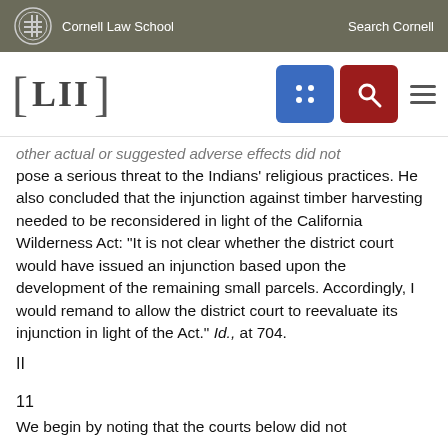Cornell Law School | Search Cornell
[Figure (logo): LII Legal Information Institute logo with navigation icons (grid icon blue, search icon red, hamburger menu)]
other actual or suggested adverse effects did not pose a serious threat to the Indians' religious practices. He also concluded that the injunction against timber harvesting needed to be reconsidered in light of the California Wilderness Act: "It is not clear whether the district court would have issued an injunction based upon the development of the remaining small parcels. Accordingly, I would remand to allow the district court to reevaluate its injunction in light of the Act." Id., at 704.
II
11
We begin by noting that the courts below did not